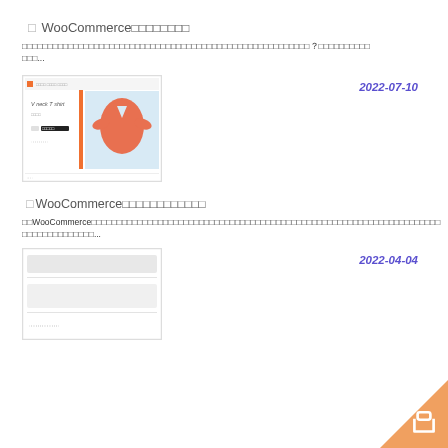□ WooCommerce的购物车页面
□□□□□□□□□□□□□□□□□□□□□□□□□□□□□□□□□□□□□□□□□□□□□□□□□□□□□□□□？□□□□□□□□□□□□...
[Figure (screenshot): WooCommerce product page screenshot showing a V-neck T-shirt product with orange vertical accent bar]
2022-07-10
□WooCommerce□□□□□□□□□□□□
□□WooCommerce□□□□□□□□□□□□□□□□□□□□□□□□□□□□□□□□□□□□□□□□□□□□□□□□□□□□□□□□□□□□□...
[Figure (screenshot): WooCommerce admin or storefront screenshot showing form fields]
2022-04-04